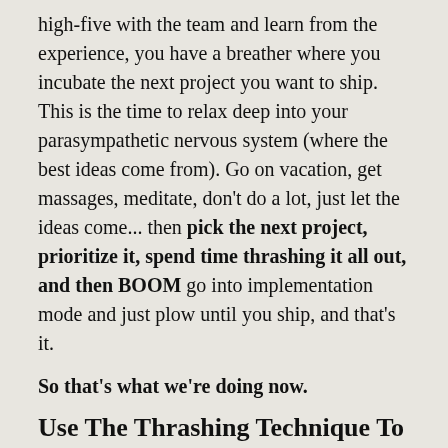high-five with the team and learn from the experience, you have a breather where you incubate the next project you want to ship. This is the time to relax deep into your parasympathetic nervous system (where the best ideas come from). Go on vacation, get massages, meditate, don't do a lot, just let the ideas come... then pick the next project, prioritize it, spend time thrashing it all out, and then BOOM go into implementation mode and just plow until you ship, and that's it.
So that's what we're doing now.
Use The Thrashing Technique To Get Your Projects Done Right The First Time Around
We have people that capture Ali's creative downloads, and translate them into templates and